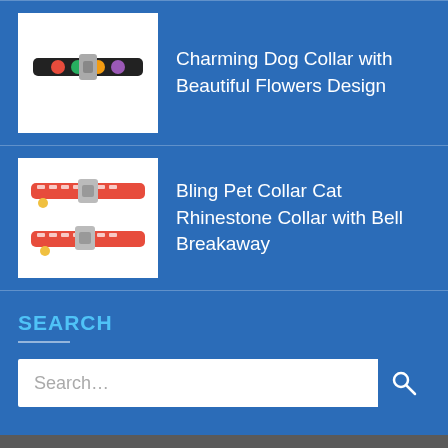Charming Dog Collar with Beautiful Flowers Design
Bling Pet Collar Cat Rhinestone Collar with Bell Breakaway
SEARCH
Factory Address: Yuyue Industrial Park, Economic Development Zone, Xianning City, Hubei Province, China.
Guangzhou Office: #9 Aoti Road, Tianhe District, Guangzhou City, China.